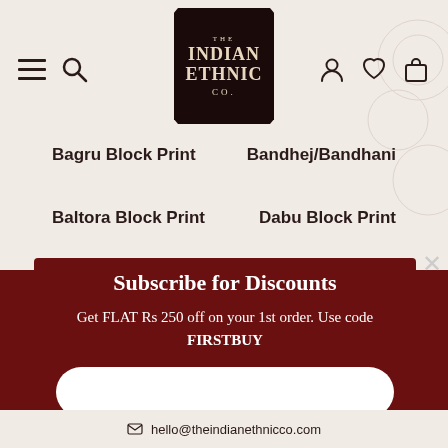[Figure (screenshot): The Indian Ethnic Co. website header with logo, hamburger menu, search, user, wishlist, and cart icons on a beige background.]
Bagru Block Print
Bandhej/Bandhani
Baltora Block Print
Dabu Block Print
Subscribe for Discounts
Get FLAT Rs 250 off on your 1st order. Use code FIRSTBUY
SUBSCRIBE
hello@theindianethnicco.com